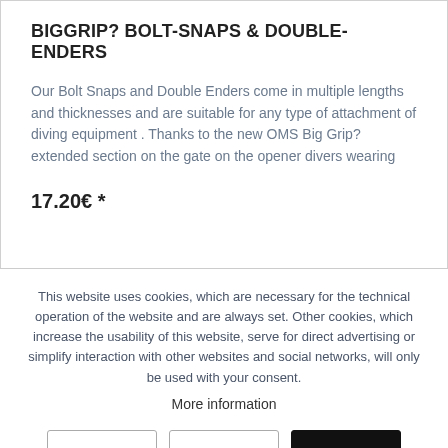BIGGRIP? BOLT-SNAPS & DOUBLE-ENDERS
Our Bolt Snaps and Double Enders come in multiple lengths and thicknesses and are suitable for any type of attachment of diving equipment . Thanks to the new OMS Big Grip? extended section on the gate on the opener divers wearing
17.20€ *
This website uses cookies, which are necessary for the technical operation of the website and are always set. Other cookies, which increase the usability of this website, serve for direct advertising or simplify interaction with other websites and social networks, will only be used with your consent.
More information
Decline
Accept all
Configure